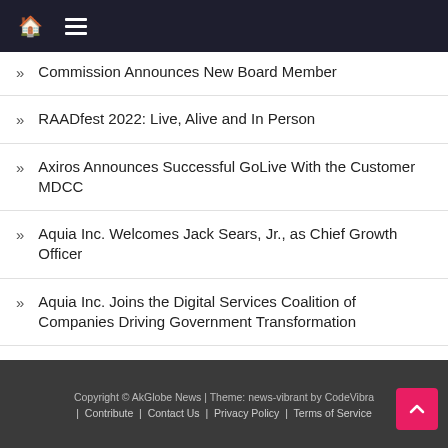Home | Menu
Commission Announces New Board Member
RAADfest 2022: Live, Alive and In Person
Axiros Announces Successful GoLive With the Customer MDCC
Aquia Inc. Welcomes Jack Sears, Jr., as Chief Growth Officer
Aquia Inc. Joins the Digital Services Coalition of Companies Driving Government Transformation
MainConcept and Fraunhofer IIS to showcase the future of video and audio with VVC and MPEG-H Audio
Copyright © AkGlobe News | Theme: news-vibrant by CodeVibrant | Contribute | Contact Us | Privacy Policy | Terms of Service